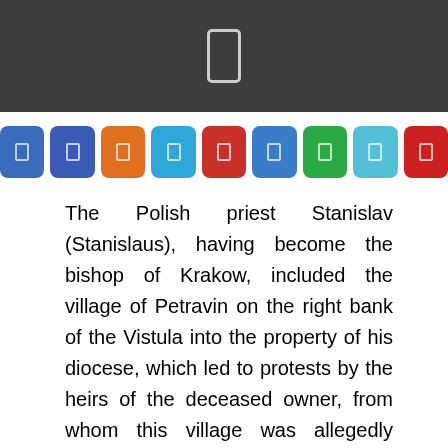[Figure (other): Dark grey top bar with a phone/device icon outline in the center]
[Figure (other): Row of 9 colored square icon buttons: blue, dark blue, orange, sky blue, red, blue, green, light blue, red]
The Polish priest Stanislav (Stanislaus), having become the bishop of Krakow, included the village of Petravin on the right bank of the Vistula into the property of his diocese, which led to protests by the heirs of the deceased owner, from whom this village was allegedly bought, and to a lawsuit. But with such a trump card as the bishop's, the heirs could not compete. Stanislav resurrected a nobleman who had died three years earlier, he personally appeared at the trial and confirmed the immaculacy